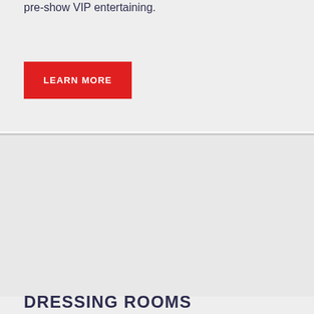pre-show VIP entertaining.
LEARN MORE
[Figure (other): Light grey placeholder image area in the bottom section]
DRESSING ROOMS